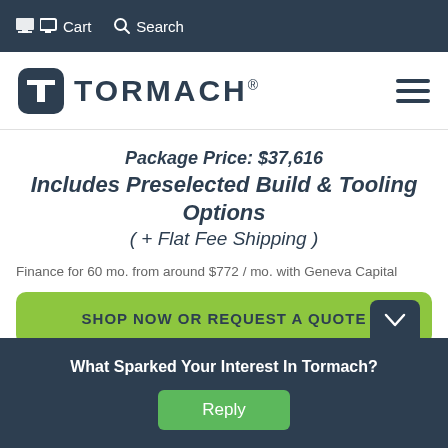Cart  Search
[Figure (logo): Tormach logo with rounded square T icon and wordmark TORMACH®]
Package Price: $37,616
Includes Preselected Build & Tooling Options
( + Flat Fee Shipping )
Finance for 60 mo. from around $772 / mo. with Geneva Capital
SHOP NOW OR REQUEST A QUOTE
What Sparked Your Interest In Tormach?
Reply